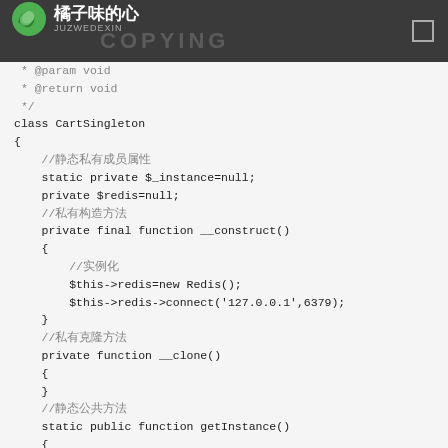橘子味的心 JUZWEDEXIN
[Figure (screenshot): PHP code screenshot showing CartSingleton class implementation with singleton pattern using Redis connection]
* @param void
 * @return void
 */
class CartSingleton
{
    //静态私有成员属性
    static private $_instance=null;
    private $redis=null;
    //私有构造方法
    private final function __construct()
    {
        //实例化
        $this->redis=new Redis();
        $this->redis->connect('127.0.0.1',6379);
    }
    //私有克隆方法
    private function __clone()
    {
    }
    //静态公共方法
    static public function getInstance()
    {
        if(!(self::$_instance instanceof self)){
            self::$_instance = new CartSingleton();
        }
    }